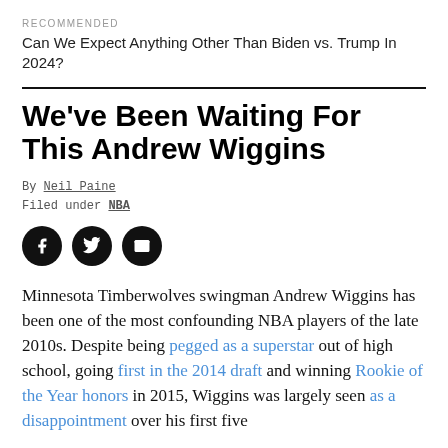RECOMMENDED
Can We Expect Anything Other Than Biden vs. Trump In 2024?
We've Been Waiting For This Andrew Wiggins
By Neil Paine
Filed under NBA
[Figure (other): Three circular social share buttons: Facebook, Twitter, Email]
Minnesota Timberwolves swingman Andrew Wiggins has been one of the most confounding NBA players of the late 2010s. Despite being pegged as a superstar out of high school, going first in the 2014 draft and winning Rookie of the Year honors in 2015, Wiggins was largely seen as a disappointment over his first five